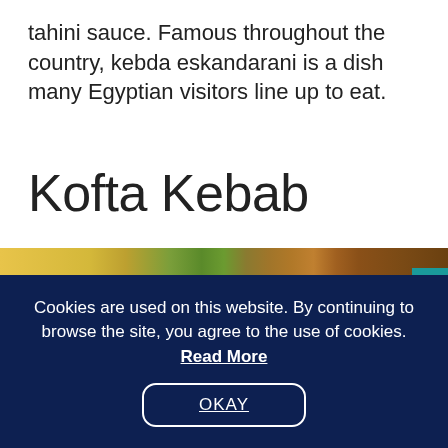tahini sauce. Famous throughout the country, kebda eskandarani is a dish many Egyptian visitors line up to eat.
Kofta Kebab
[Figure (photo): Food photo showing yellow rice, green vegetables, and a red chili pepper on a plate with a burlap cloth in the background on a wooden surface]
Cookies are used on this website. By continuing to browse the site, you agree to the use of cookies. Read More
OKAY